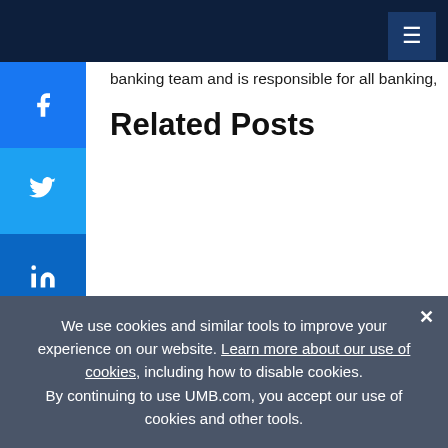banking team and is responsible for all banking,
Related Posts
We use cookies and similar tools to improve your experience on our website. Learn more about our use of cookies, including how to disable cookies. By continuing to use UMB.com, you accept our use of cookies and other tools.